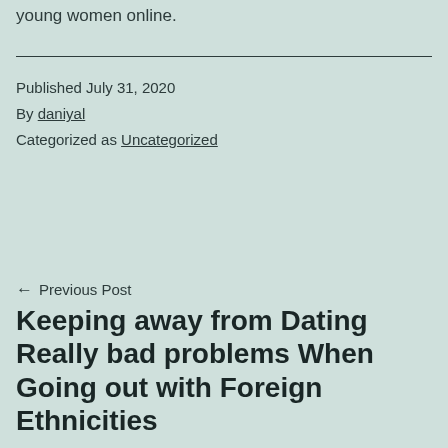young women online.
Published July 31, 2020
By daniyal
Categorized as Uncategorized
← Previous Post
Keeping away from Dating Really bad problems When Going out with Foreign Ethnicities